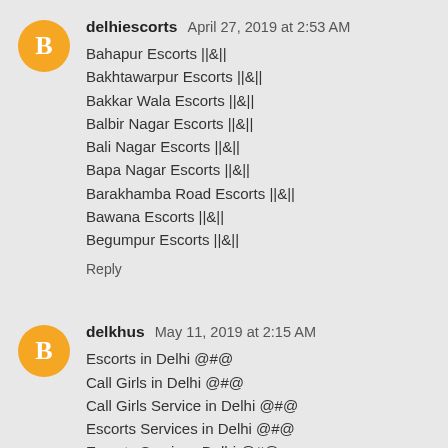delhiescorts April 27, 2019 at 2:53 AM
Bahapur Escorts ||&||
Bakhtawarpur Escorts ||&||
Bakkar Wala Escorts ||&||
Balbir Nagar Escorts ||&||
Bali Nagar Escorts ||&||
Bapa Nagar Escorts ||&||
Barakhamba Road Escorts ||&||
Bawana Escorts ||&||
Begumpur Escorts ||&||
Reply
delkhus May 11, 2019 at 2:15 AM
Escorts in Delhi @#@
Call Girls in Delhi @#@
Call Girls Service in Delhi @#@
Escorts Services in Delhi @#@
Escorts Services Delhi @#@
Escorts in Gurgaon @#@